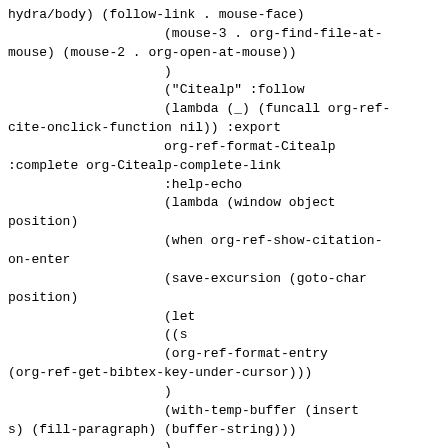hydra/body) (follow-link . mouse-face)
                    (mouse-3 . org-find-file-at-
mouse) (mouse-2 . org-open-at-mouse))
                    )
                    ("Citealp" :follow
                    (lambda (_) (funcall org-ref-
cite-onclick-function nil)) :export
                    org-ref-format-Citealp
:complete org-Citealp-complete-link
                    :help-echo
                    (lambda (window object
position)
                    (when org-ref-show-citation-
on-enter
                    (save-excursion (goto-char
position)
                    (let
                    ((s
                    (org-ref-format-entry
(org-ref-get-bibtex-key-under-cursor)))
                    )
                    (with-temp-buffer (insert
s) (fill-paragraph) (buffer-string)))
                    )
                    )
                    )
                    :face org-ref-cite-link-face-fn
:display full :keymap
                    (keymap
                    (tab lambda nil (interactive)